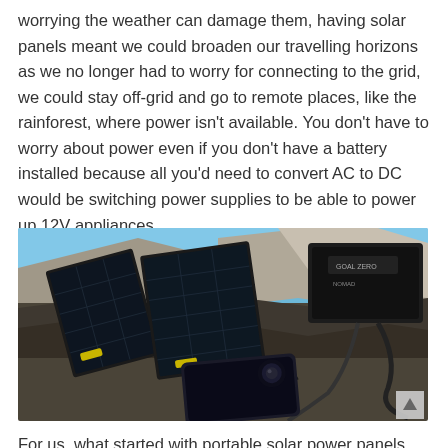worrying the weather can damage them, having solar panels meant we could broaden our travelling horizons as we no longer had to worry for connecting to the grid, we could stay off-grid and go to remote places, like the rainforest, where power isn't available. You don't have to worry about power even if you don't have a battery installed because all you'd need to convert AC to DC would be switching power supplies to be able to power up 12V appliances.
[Figure (photo): Portable solar panels laid open on rocky ground outdoors under a blue sky, with a smartphone and cables visible in the foreground, and what appears to be a battery pack or device attached.]
For us, what started with portable solar power panels